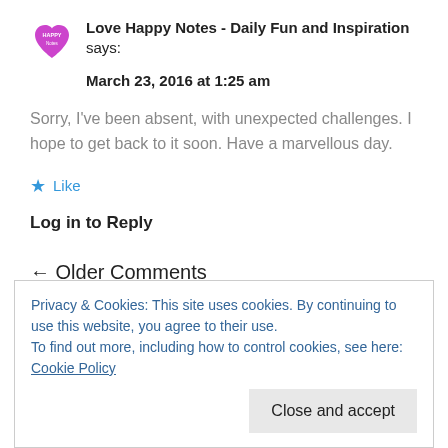[Figure (logo): Pink heart-shaped logo with 'HAPPY' text inside]
Love Happy Notes - Daily Fun and Inspiration says:
March 23, 2016 at 1:25 am
Sorry, I've been absent, with unexpected challenges. I hope to get back to it soon. Have a marvellous day.
★ Like
Log in to Reply
← Older Comments
Privacy & Cookies: This site uses cookies. By continuing to use this website, you agree to their use.
To find out more, including how to control cookies, see here: Cookie Policy
Close and accept